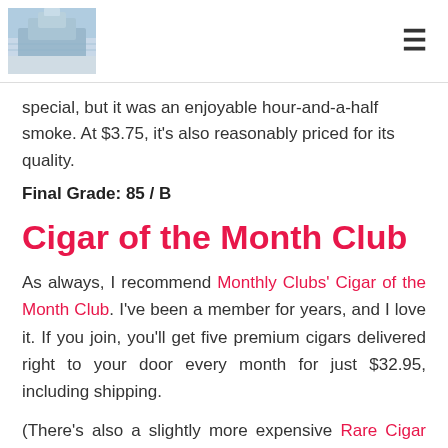[Figure (photo): Aerial/cityscape photo used as site logo/header image]
special, but it was an enjoyable hour-and-a-half smoke. At $3.75, it's also reasonably priced for its quality.
Final Grade: 85 / B
Cigar of the Month Club
As always, I recommend Monthly Clubs' Cigar of the Month Club. I've been a member for years, and I love it. If you join, you'll get five premium cigars delivered right to your door every month for just $32.95, including shipping.
(There's also a slightly more expensive Rare Cigar Club available, for those who are interested.)
The opportunity to try a variety of high-quality cigars and to